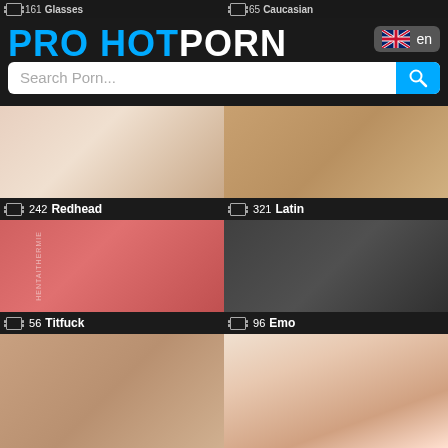PRO HOTPORN
Search Porn...
[Figure (screenshot): Grid of adult video category thumbnails: Redhead (242), Latin (321), Titfuck (56), Emo (96), and two unlabeled bottom thumbnails. Top bar shows category labels: 161 Glasses, 65 Caucasian.]